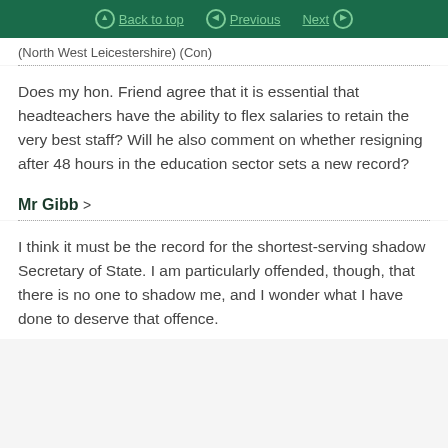Back to top   Previous   Next
(North West Leicestershire) (Con)
Does my hon. Friend agree that it is essential that headteachers have the ability to flex salaries to retain the very best staff? Will he also comment on whether resigning after 48 hours in the education sector sets a new record?
Mr Gibb >
I think it must be the record for the shortest-serving shadow Secretary of State. I am particularly offended, though, that there is no one to shadow me, and I wonder what I have done to deserve that offence.